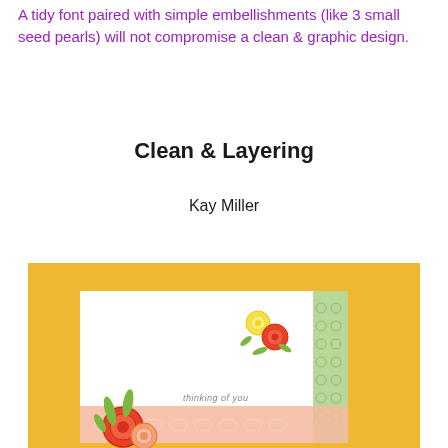A tidy font paired with simple embellishments (like 3 small seed pearls) will not compromise a clean & graphic design.
Clean & Layering
Kay Miller
[Figure (photo): A handmade greeting card featuring floral die-cuts (roses and leaves in coral, yellow, and green) on a white card base with a peach lace-patterned strip at the bottom and a green patterned strip on the right, placed on a yellow background. The card reads 'thinking of you'.]